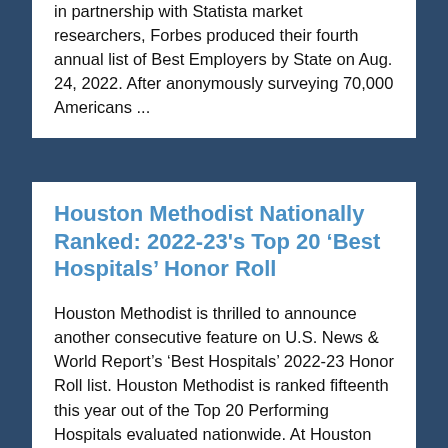in partnership with Statista market researchers, Forbes produced their fourth annual list of Best Employers by State on Aug. 24, 2022. After anonymously surveying 70,000 Americans ...
Houston Methodist Nationally Ranked: 2022-23's Top 20 'Best Hospitals' Honor Roll
Houston Methodist is thrilled to announce another consecutive feature on U.S. News & World Report's 'Best Hospitals' 2022-23 Honor Roll list. Houston Methodist is ranked fifteenth this year out of the Top 20 Performing Hospitals evaluated nationwide. At Houston Methodist, we are honored and humbled to receive this distinguished ...